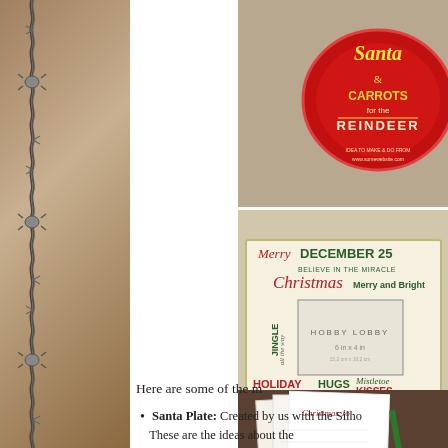[Figure (photo): Red plate with Santa and Carrots for Reindeer text, festive holiday design]
[Figure (photo): Christmas photo frame from Hobby Lobby, 6in x 4in, decorated with holiday words: December 25, Merry Christmas, Jingle all the way, Holiday Hugs, Mistletoe Kisses, Joy to the World]
[Figure (photo): Christmas Joy journal/activity sheets with pencil, holiday themed printables]
Here are some of the m
Santa Plate: Created by us with the Silho These are the ideas about the